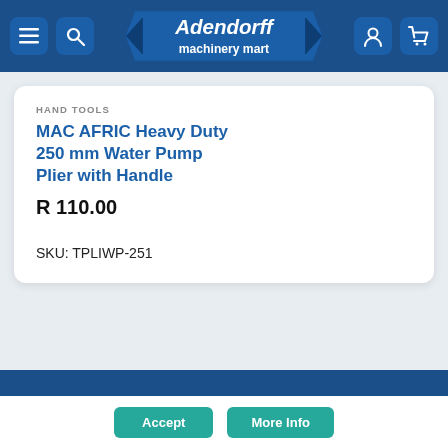[Figure (logo): Adendorff machinery mart logo with navigation icons (hamburger menu, search, user, cart) on dark blue header bar]
HAND TOOLS
MAC AFRIC Heavy Duty 250 mm Water Pump Plier with Handle
R 110.00
SKU: TPLIWP-251
We use cookies to ensure that we give you the best experience on our website. If you continue to use this site we will assume that you are happy with it.